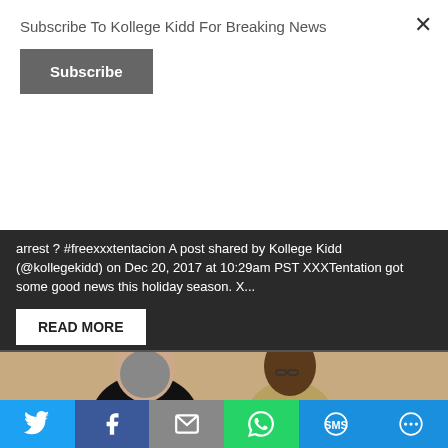Subscribe To Kollege Kidd For Breaking News
Subscribe
arrest ? #freexxxtentacion A post shared by Kollege Kidd (@kollegekidd) on Dec 20, 2017 at 10:29am PST XXXTentation got some good news this holiday season. X...
READ MORE
[Figure (photo): Two men in a courtroom setting — an older white man with gray hair and beard in a dark suit, and a young Black man wearing glasses]
[Figure (other): Social share bar with Twitter, Facebook, Email, WhatsApp, SMS, and More buttons]